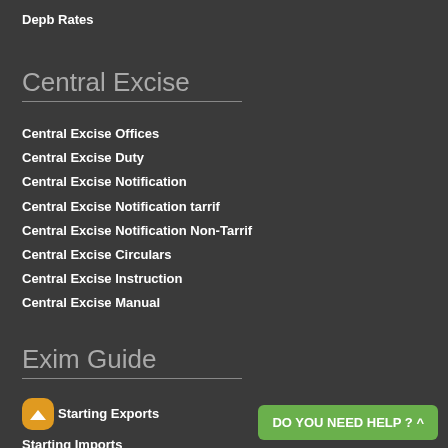Depb Rates
Central Excise
Central Excise Offices
Central Excise Duty
Central Excise Notification
Central Excise Notification tarrif
Central Excise Notification Non-Tarrif
Central Excise Circulars
Central Excise Instruction
Central Excise Manual
Exim Guide
Starting Exports
Starting Imports
Exports Finance
DO YOU NEED HELP ? ^